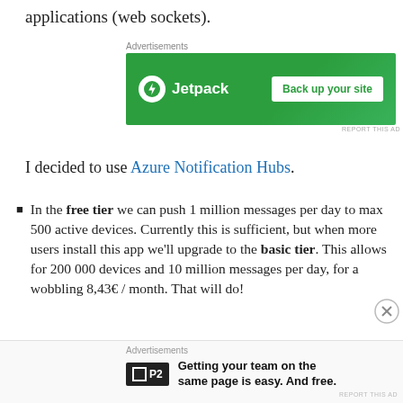applications (web sockets).
[Figure (screenshot): Jetpack advertisement banner with green background, Jetpack logo on left and 'Back up your site' button on right]
I decided to use Azure Notification Hubs.
In the free tier we can push 1 million messages per day to max 500 active devices. Currently this is sufficient, but when more users install this app we'll upgrade to the basic tier. This allows for 200 000 devices and 10 million messages per day, for a wobbling 8,43€ / month. That will do!
But to start pushing messages to devices we first need
[Figure (screenshot): P2 advertisement: Getting your team on the same page is easy. And free.]